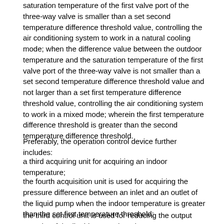saturation temperature of the first valve port of the three-way valve is smaller than a set second temperature difference threshold value, controlling the air conditioning system to work in a natural cooling mode; when the difference value between the outdoor temperature and the saturation temperature of the first valve port of the three-way valve is not smaller than a set second temperature difference threshold value and not larger than a set first temperature difference threshold value, controlling the air conditioning system to work in a mixed mode; wherein the first temperature difference threshold is greater than the second temperature difference threshold.
Preferably, the operation control device further includes:
a third acquiring unit for acquiring an indoor temperature;
the fourth acquisition unit is used for acquiring the pressure difference between an inlet and an outlet of the liquid pump when the indoor temperature is greater than the set first temperature threshold;
the third control unit is used for reducing the output quantity of the liquid pump when the pressure difference